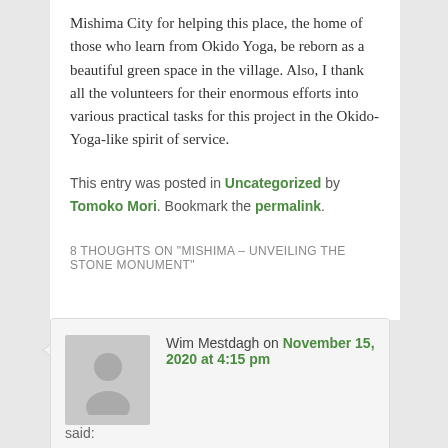Mishima City for helping this place, the home of those who learn from Okido Yoga, be reborn as a beautiful green space in the village. Also, I thank all the volunteers for their enormous efforts into various practical tasks for this project in the Okido-Yoga-like spirit of service.
This entry was posted in Uncategorized by Tomoko Mori. Bookmark the permalink.
8 THOUGHTS ON "MISHIMA – UNVEILING THE STONE MONUMENT"
Wim Mestdagh on November 15, 2020 at 4:15 pm said: Thank you for sharing ! What a wonderful way to commemorate Oki-sensei ! I stayed in the dojo for some months in 1984…